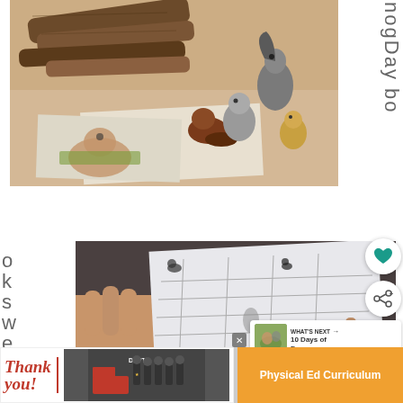[Figure (photo): Photo of small animal figurines (squirrel, beaver, chipmunk) and illustrated drawings of animals on paper, with twig-shaped pencils in the background, on a beige surface — Groundhog Day book activity]
GroundhogDaybooks we
okswe
[Figure (photo): A child's hand holding and writing on a worksheet with a grid and small animal silhouettes printed on it]
[Figure (infographic): WHAT'S NEXT → 10 Days of Free... thumbnail with a small photo of animals]
[Figure (photo): Bottom advertisement banner: left side shows 'Thank you!' text with firefighters photo; right side is orange with 'Physical Ed Curriculum' text]